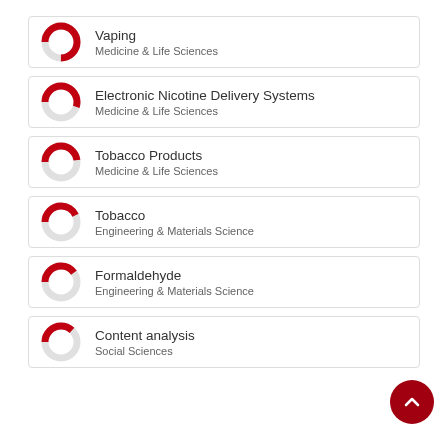Vaping — Medicine & Life Sciences
Electronic Nicotine Delivery Systems — Medicine & Life Sciences
Tobacco Products — Medicine & Life Sciences
Tobacco — Engineering & Materials Science
Formaldehyde — Engineering & Materials Science
Content analysis — Social Sciences